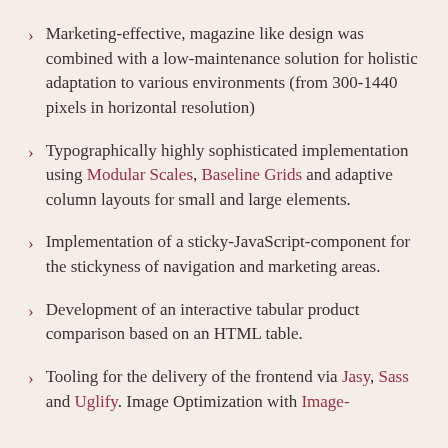Marketing-effective, magazine like design was combined with a low-maintenance solution for holistic adaptation to various environments (from 300-1440 pixels in horizontal resolution)
Typographically highly sophisticated implementation using Modular Scales, Baseline Grids and adaptive column layouts for small and large elements.
Implementation of a sticky-JavaScript-component for the stickyness of navigation and marketing areas.
Development of an interactive tabular product comparison based on an HTML table.
Tooling for the delivery of the frontend via Jasy, Sass and Uglify. Image Optimization with Image-